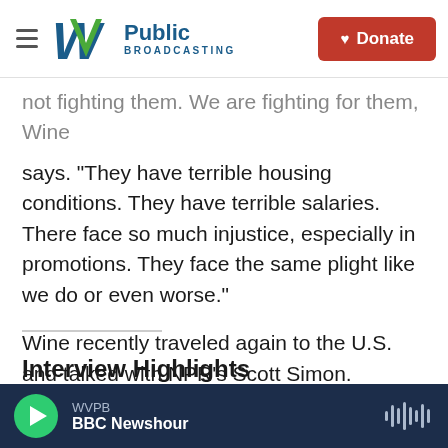W Public Broadcasting | Donate
not fighting them. We are fighting for them, Wine says. "They have terrible housing conditions. They have terrible salaries. There face so much injustice, especially in promotions. They face the same plight like we do or even worse."
Wine recently traveled again to the U.S. and talked with NPR's Scott Simon.
Interview Highlights
On Museveni's "military dictatorship"
WVPB | BBC Newshour